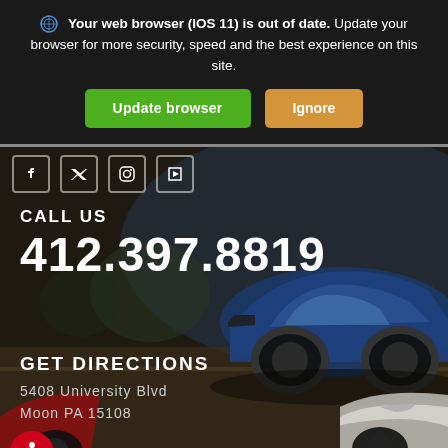Your web browser (IOS 11) is out of date. Update your browser for more security, speed and the best experience on this site.
[Figure (screenshot): Browser update notification banner with 'Update browser' green button and 'Ignore' orange button on dark background]
[Figure (photo): Car dealership background image showing blue and white Dodge Challenger muscle cars in an outdoor setting]
CALL US
412.397.8819
GET DIRECTIONS
5408 University Blvd
Moon PA 15108